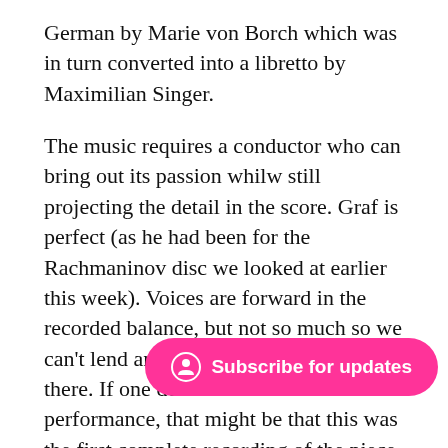German by Marie von Borch which was in turn converted into a libretto by Maximilian Singer.
The music requires a conductor who can bring out its passion whilw still projecting the detail in the score. Graf is perfect (as he had been for the Rachmaninov disc we looked at earlier this week). Voices are forward in the recorded balance, but not so much so we can't lend an ear to the delights going on there. If one detects a freshness to the performance, that might be that this was the first complete recording of the piece.
The soprano Eva Johansson is radiant as the Princess, while Kurt Westi is a fin... Johansson in brilliant fo... weilt er so lang?":
[Figure (other): Hot pink rounded pill-shaped button with a user/subscribe icon and text 'Subscribe for updates']